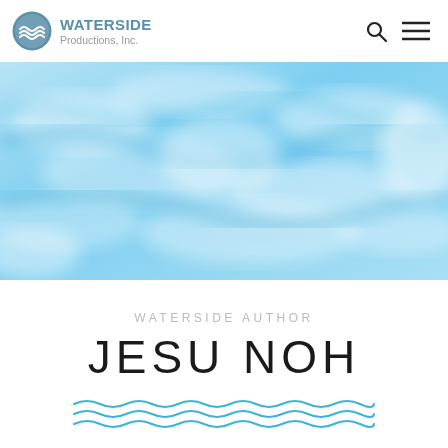WATERSIDE Productions, Inc.
[Figure (illustration): Water surface banner image with light blue rippling water texture]
WATERSIDE AUTHOR
JESU NOH
[Figure (illustration): Decorative blue wave line divider]